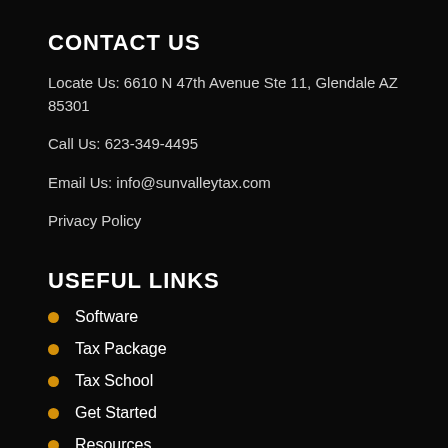CONTACT US
Locate Us: 6610 N 47th Avenue Ste 11, Glendale AZ 85301
Call Us: 623-349-4495
Email Us: info@sunvalleytax.com
Privacy Policy
USEFUL LINKS
Software
Tax Package
Tax School
Get Started
Resources
Software Bundle